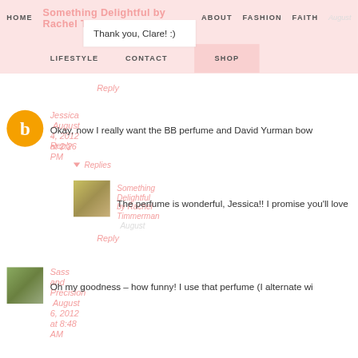HOME   Something Delightful by Rachel Timmerman   ABOUT   FASHION   FAITH   August
Thank you, Clare! :)
LIFESTYLE   CONTACT   SHOP
Reply
Jessica  August 4, 2012 at 2:26 PM
Okay, now I really want the BB perfume and David Yurman bow
Reply
Replies
Something Delightful by Rachel Timmerman  August
The perfume is wonderful, Jessica!! I promise you'll love
Reply
Sass and Precision  August 6, 2012 at 8:48 AM
Oh my goodness – how funny! I use that perfume (I alternate wi